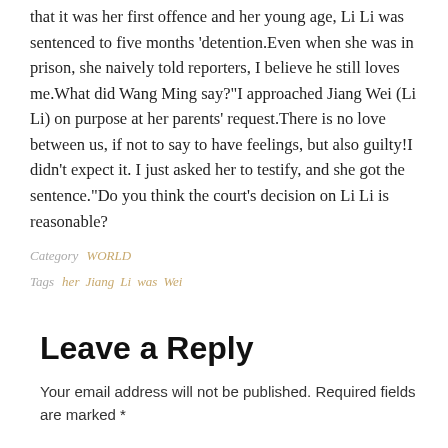that it was her first offence and her young age, Li Li was sentenced to five months 'detention.Even when she was in prison, she naively told reporters, I believe he still loves me.What did Wang Ming say?"I approached Jiang Wei (Li Li) on purpose at her parents' request.There is no love between us, if not to say to have feelings, but also guilty!I didn't expect it. I just asked her to testify, and she got the sentence."Do you think the court's decision on Li Li is reasonable?
Category   WORLD
Tags   her   Jiang   Li   was   Wei
Leave a Reply
Your email address will not be published. Required fields are marked *